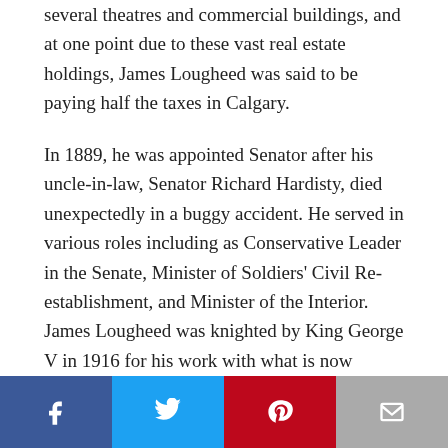several theatres and commercial buildings, and at one point due to these vast real estate holdings, James Lougheed was said to be paying half the taxes in Calgary.
In 1889, he was appointed Senator after his uncle-in-law, Senator Richard Hardisty, died unexpectedly in a buggy accident. He served in various roles including as Conservative Leader in the Senate, Minister of Soldiers' Civil Re-establishment, and Minister of the Interior. James Lougheed was knighted by King George V in 1916 for his work with what is now Veterans Affairs. He was the youngest Senator to have been appointed
[Figure (other): Social sharing bar with four buttons: Facebook (blue), Twitter (light blue), Pinterest (red), Email (grey)]